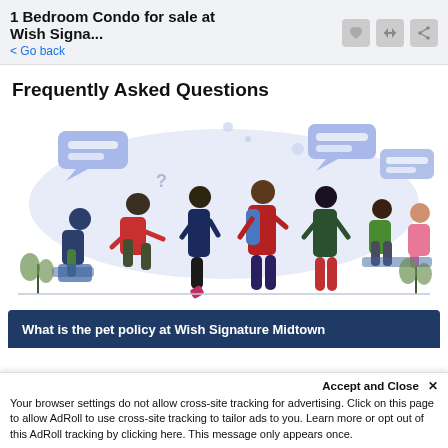1 Bedroom Condo for sale at Wish Signa... < Go back
Frequently Asked Questions
[Figure (illustration): Illustration of a group of diverse people sitting and standing with speech bubbles, representing a FAQ or Q&A discussion scene. Light blue/purple color scheme.]
What is the pet policy at Wish Signature Midtown
Accept and Close ✕
Your browser settings do not allow cross-site tracking for advertising. Click on this page to allow AdRoll to use cross-site tracking to tailor ads to you. Learn more or opt out of this AdRoll tracking by clicking here. This message only appears once.